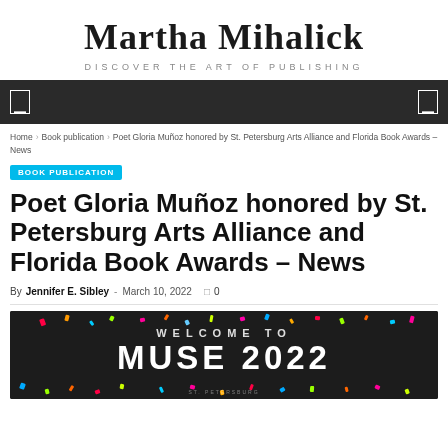Martha Mihalick
DISCOVER THE ART OF PUBLISHING
Home > Book publication > Poet Gloria Muñoz honored by St. Petersburg Arts Alliance and Florida Book Awards – News
BOOK PUBLICATION
Poet Gloria Muñoz honored by St. Petersburg Arts Alliance and Florida Book Awards – News
By Jennifer E. Sibley - March 10, 2022  0
[Figure (photo): Dark brick wall with illuminated white text reading 'WELCOME TO MUSE 2022' with colorful confetti decorations, St. Petersburg Arts branding visible at the bottom]